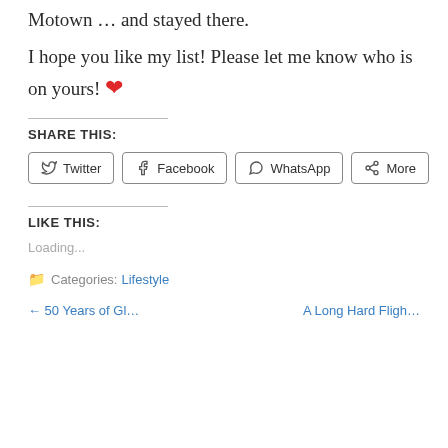Motown ... and stayed there.
I hope you like my list! Please let me know who is on yours! ❤
SHARE THIS:
Twitter  Facebook  WhatsApp  More
LIKE THIS:
Loading...
Categories: Lifestyle
← 50 Years of Gl…     A Long Hard Fligh…